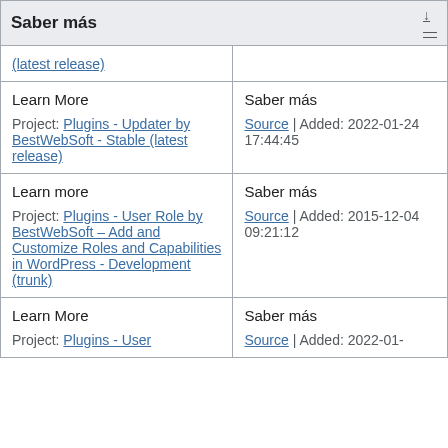Saber más
| (English) | (Spanish) |
| --- | --- |
| (latest release) |  |
| Learn More

Project: Plugins - Updater by BestWebSoft - Stable (latest release) | Saber más

Source | Added: 2022-01-24 17:44:45 |
| Learn more

Project: Plugins - User Role by BestWebSoft – Add and Customize Roles and Capabilities in WordPress - Development (trunk) | Saber más

Source | Added: 2015-12-04 09:21:12 |
| Learn More

Project: Plugins - User | Saber más

Source | Added: 2022-01- |